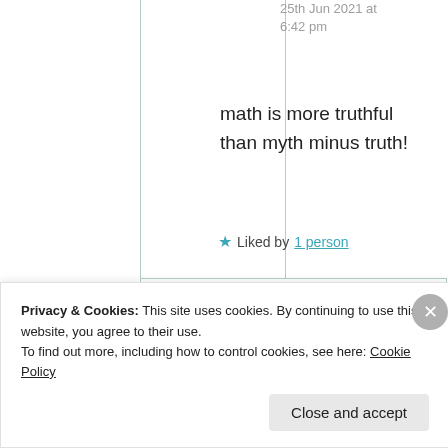25th Jun 2021 at 6:42 pm
math is more truthful than myth minus truth!
★ Liked by 1 person
Suma Reddy
25th Jun 2021 at
Privacy & Cookies: This site uses cookies. By continuing to use this website, you agree to their use.
To find out more, including how to control cookies, see here: Cookie Policy
Close and accept